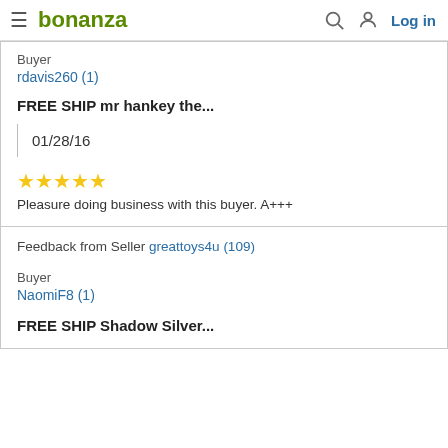bonanza  Log in
Buyer
rdavis260 (1)
FREE SHIP mr hankey the...
01/28/16
★★★★★
Pleasure doing business with this buyer. A+++
Feedback from Seller greattoys4u (109)
Buyer
NaomiF8 (1)
FREE SHIP Shadow Silver...